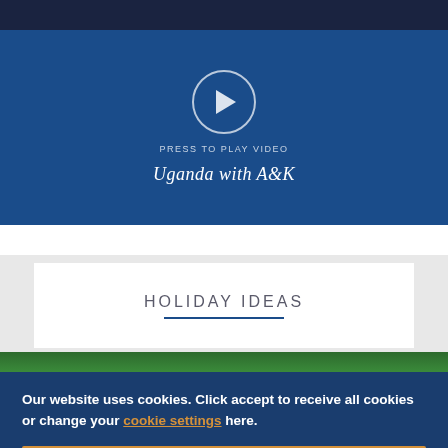[Figure (screenshot): Video player placeholder with play button circle icon on dark blue background]
PRESS TO PLAY VIDEO
Uganda with A&K
HOLIDAY IDEAS
[Figure (photo): Green foliage strip at bottom of holiday ideas section]
Our website uses cookies. Click accept to receive all cookies or change your cookie settings here.
✓ ACCEPT AND CONTINUE